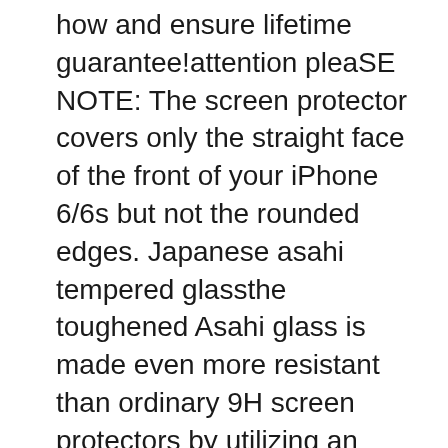how and ensure lifetime guarantee!attention pleaSE NOTE: The screen protector covers only the straight face of the front of your iPhone 6/6s but not the rounded edges. Japanese asahi tempered glassthe toughened Asahi glass is made even more resistant than ordinary 9H screen protectors by utilizing an extended curing process.
Dust-free, fingerprint-free, one-push super easy installation, bubble free. Retail package includes: 2-pack tempered glass screen protectors, cleaning cloth, guide stick, instructions, dust removal stick, customer service card. Double layer shockproof protective case made of a shock absorbent TPU rubber body and PC hard back shell.